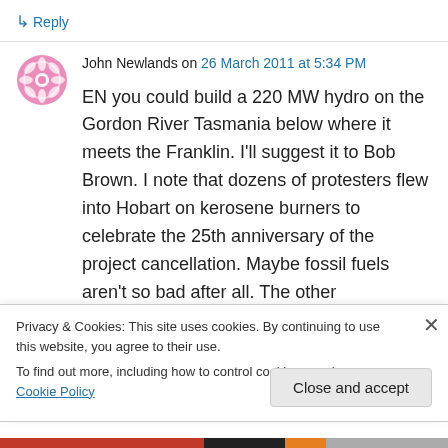↳ Reply
John Newlands on 26 March 2011 at 5:34 PM
EN you could build a 220 MW hydro on the Gordon River Tasmania below where it meets the Franklin. I'll suggest it to Bob Brown. I note that dozens of protesters flew into Hobart on kerosene burners to celebrate the 25th anniversary of the project cancellation. Maybe fossil fuels aren't so bad after all. The other
Privacy & Cookies: This site uses cookies. By continuing to use this website, you agree to their use.
To find out more, including how to control cookies, see here: Cookie Policy
Close and accept